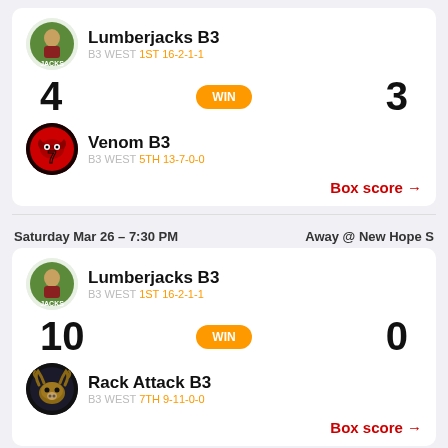Lumberjacks B3 — B3 WEST 1ST 16-2-1-1
4 WIN 3
Venom B3 — B3 WEST 5TH 13-7-0-0
Box score →
Saturday Mar 26 – 7:30 PM    Away @ New Hope S
Lumberjacks B3 — B3 WEST 1ST 16-2-1-1
10 WIN 0
Rack Attack B3 — B3 WEST 7TH 9-11-0-0
Box score →